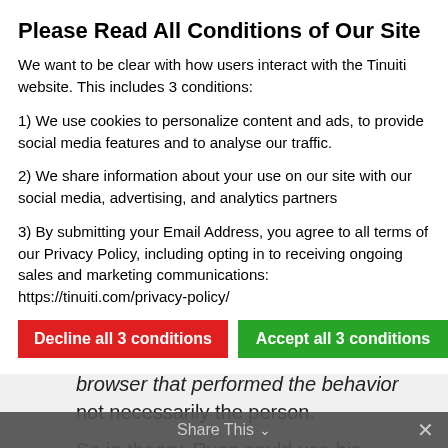Please Read All Conditions of Our Site
We want to be clear with how users interact with the Tinuiti website. This includes 3 conditions:
1) We use cookies to personalize content and ads, to provide social media features and to analyse our traffic.
2) We share information about your use on our site with our social media, advertising, and analytics partners
3) By submitting your Email Address, you agree to all terms of our Privacy Policy, including opting in to receiving ongoing sales and marketing communications: https://tinuiti.com/privacy-policy/
Decline all 3 conditions | Accept all 3 conditions | Show details
able to track the user based on a SSO, you're stuck to only targeting the actual browser that performed the behavior not necessarily the person.
So in theory, Ryan could use his sister's computer and Google will serve him the same swimsuit ads
Share This